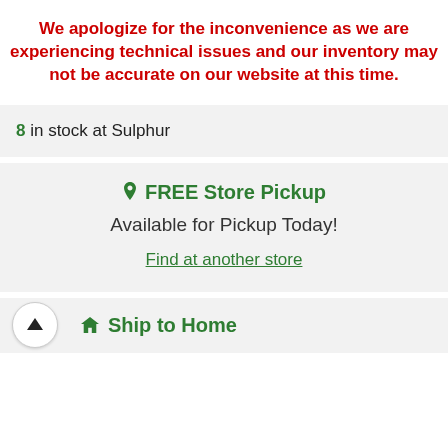We apologize for the inconvenience as we are experiencing technical issues and our inventory may not be accurate on our website at this time.
8 in stock at Sulphur
FREE Store Pickup
Available for Pickup Today!
Find at another store
Ship to Home